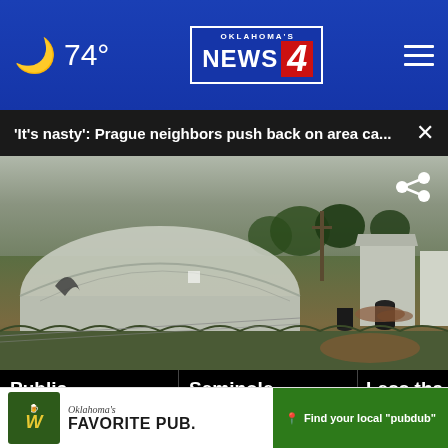74° | Oklahoma's News 4
'It's nasty': Prague neighbors push back on area ca...
[Figure (photo): Outdoor photo of a rural property with a large white plastic greenhouse/hoop structure, debris and barrels scattered around, overgrown grass, trees in background, and metal buildings to the right.]
Public Schools: Cla... res...
Seminole teachers help
Less tha... without... n Semi...
[Figure (advertisement): Oklahoma's Favorite Pub advertisement with green logo featuring W, cursive text, and 'Find your local pubdub' CTA button.]